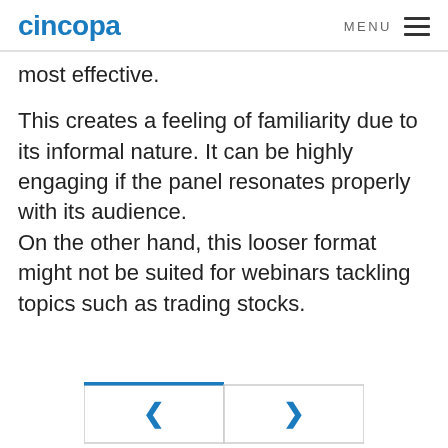cincopa  MENU
most effective.
This creates a feeling of familiarity due to its informal nature. It can be highly engaging if the panel resonates properly with its audience.
On the other hand, this looser format might not be suited for webinars tackling topics such as trading stocks.
[Figure (other): Navigation bar with left and right chevron buttons, left button highlighted with blue top border]